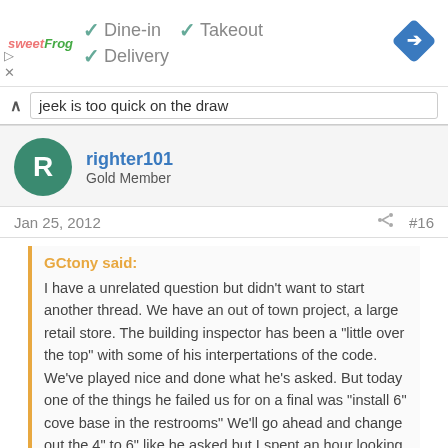[Figure (screenshot): Ad banner with sweetFrog logo, checkmarks for Dine-in, Takeout, Delivery, and a blue navigation diamond icon on the right]
jeek is too quick on the draw
righter101
Gold Member
Jan 25, 2012  #16
GCtony said:
I have a unrelated question but didn't want to start another thread. We have an out of town project, a large retail store. The building inspector has been a "little over the top" with some of his interpertations of the code. We've played nice and done what he's asked. But today one of the things he failed us for on a final was "install 6" cove base in the restrooms" We'll go ahead and change out the 4" to 6" like he asked but I spent an hour looking in the IBC and can't find any require... Click to expand... Does this exist or is this
Click to expand...